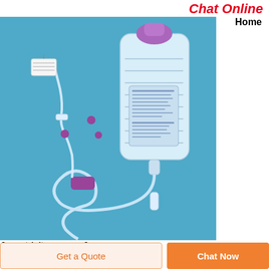Chat Online
Home
[Figure (photo): Medical enteral feeding pump set with IV bag, tubing, clamps, and connectors on a blue background]
[www.trinityasav.com]
Get a Quote
Chat Now